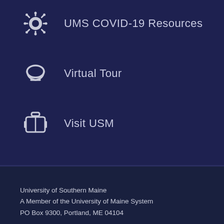UMS COVID-19 Resources
Virtual Tour
Visit USM
[Figure (infographic): Social media icons: Facebook, Twitter, Instagram, YouTube, LinkedIn]
University of Southern Maine
A Member of the University of Maine System
PO Box 9300, Portland, ME 04104